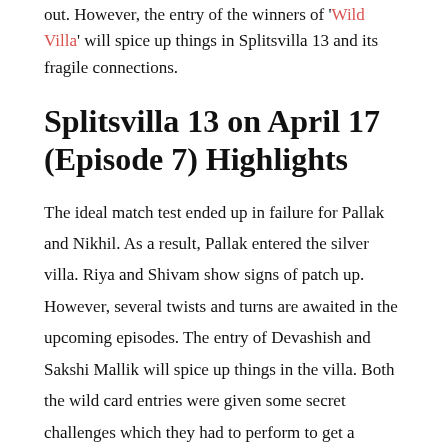out. However, the entry of the winners of 'Wild Villa' will spice up things in Splitsvilla 13 and its fragile connections.
Splitsvilla 13 on April 17 (Episode 7) Highlights
The ideal match test ended up in failure for Pallak and Nikhil. As a result, Pallak entered the silver villa. Riya and Shivam show signs of patch up. However, several twists and turns are awaited in the upcoming episodes. The entry of Devashish and Sakshi Mallik will spice up things in the villa. Both the wild card entries were given some secret challenges which they had to perform to get a special power.
Splitsvilla 13 Episode 7: Sapna's Challenges